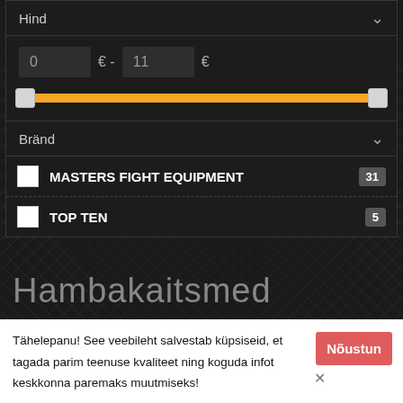Hind
0 € - 11 €
[Figure (other): Price range slider with orange track and two white thumb handles]
Bränd
MASTERS FIGHT EQUIPMENT 31
TOP TEN 5
Hambakaitsmed
Sorteeri: Vaikimisi
Tähelepanu! See veebileht salvestab küpsiseid, et tagada parim teenuse kvaliteet ning koguda infot keskkonna paremaks muutmiseks!
Nõustun